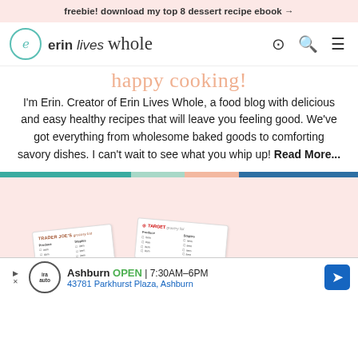freebie! download my top 8 dessert recipe ebook →
[Figure (logo): Erin Lives Whole logo with circular icon and stylized text]
I'm Erin. Creator of Erin Lives Whole, a food blog with delicious and easy healthy recipes that will leave you feeling good. We've got everything from wholesome baked goods to comforting savory dishes. I can't wait to see what you whip up! Read More...
[Figure (photo): Preview cards of Trader Joe's and Target grocery shopping lists on pink background]
[Figure (screenshot): Advertisement: Ira Auto, Ashburn OPEN 7:30AM–6PM, 43781 Parkhurst Plaza, Ashburn]